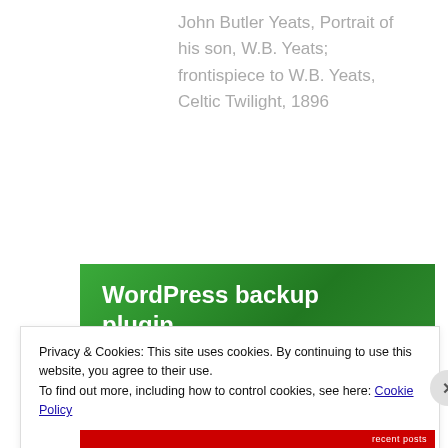John Butler Yeats, Portrait of his son, W.B. Yeats; frontispiece to W.B. Yeats, Celtic Twilight, 1896
[Figure (screenshot): Green WordPress backup plugin advertisement banner]
Privacy & Cookies: This site uses cookies. By continuing to use this website, you agree to their use. To find out more, including how to control cookies, see here: Cookie Policy
Close and accept